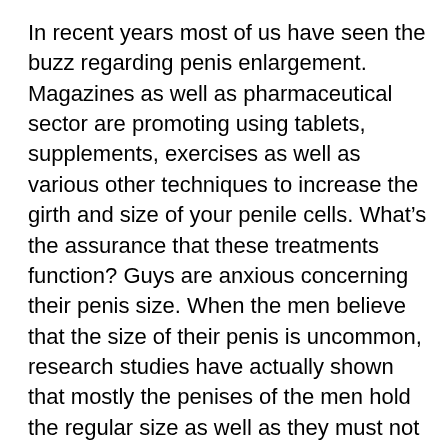In recent years most of us have seen the buzz regarding penis enlargement. Magazines as well as pharmaceutical sector are promoting using tablets, supplements, exercises as well as various other techniques to increase the girth and size of your penile cells. What's the assurance that these treatments function? Guys are anxious concerning their penis size. When the men believe that the size of their penis is uncommon, research studies have actually shown that mostly the penises of the men hold the regular size as well as they must not be worried concerning it. Research studies declare that practically 85% of girls like larger penis over those who are small or of typical size. Larger penis causes effective